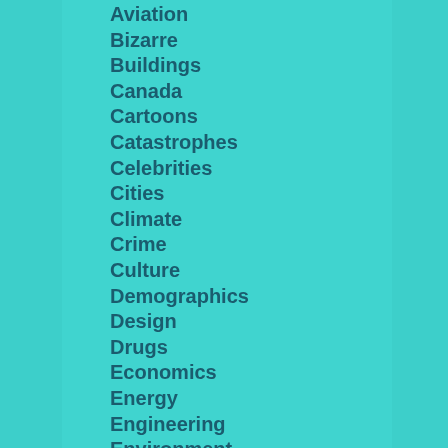Aviation
Bizarre
Buildings
Canada
Cartoons
Catastrophes
Celebrities
Cities
Climate
Crime
Culture
Demographics
Design
Drugs
Economics
Energy
Engineering
Environment
Espionage
Fake News
Fashion